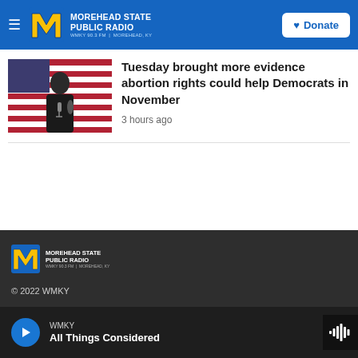Morehead State Public Radio — WMKY 90.3 FM | Morehead, KY
[Figure (photo): Man in dark suit speaking into a microphone with an American flag in the background]
Tuesday brought more evidence abortion rights could help Democrats in November
3 hours ago
[Figure (logo): Morehead State Public Radio footer logo — WMKY 90.3 FM | Morehead, KY]
© 2022 WMKY
WMKY — All Things Considered